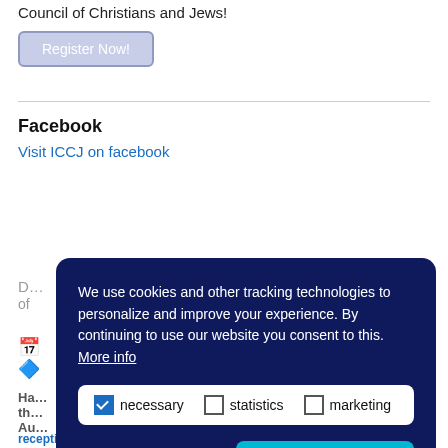Council of Christians and Jews!
Register Now!
Facebook
Visit ICCJ on facebook
We use cookies and other tracking technologies to personalize and improve your experience. By continuing to use our website you consent to this. More info
necessary  statistics  marketing
decline  allow cookies